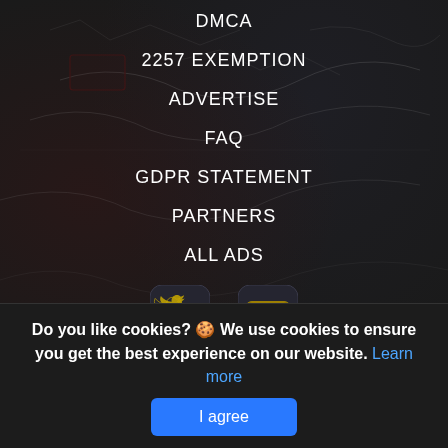DMCA
2257 EXEMPTION
ADVERTISE
FAQ
GDPR STATEMENT
PARTNERS
ALL ADS
[Figure (logo): Twitter bird icon in dark rounded square]
[Figure (logo): YouTube logo in dark rounded square]
Thank you for visiting our website. Our desire is that the information found within this site will be informative and easy to use. A simple service that brings together local businesses and service providers with the direct contact information provided. Here you can find and catalogue your business and services absolutely free. Rate places and services to help customers make the right decision! The content displayed in the Birkbho entertainment
Do you like cookies? 🍪 We use cookies to ensure you get the best experience on our website. Learn more
I agree